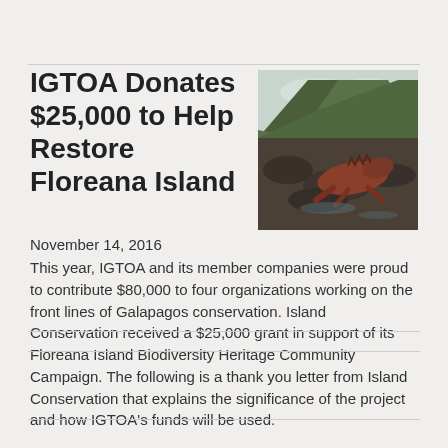IGTOA Donates $25,000 to Help Restore Floreana Island
[Figure (photo): A marine iguana resting on dark volcanic rocks with a green hillside and cloudy sky in the background, Galapagos Islands.]
November 14, 2016
This year, IGTOA and its member companies were proud to contribute $80,000 to four organizations working on the front lines of Galapagos conservation. Island Conservation received a $25,000 grant in support of its Floreana Island Biodiversity Heritage Community Campaign. The following is a thank you letter from Island Conservation that explains the significance of the project and how IGTOA's funds will be used.
Read More »